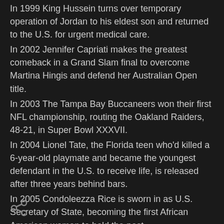In 1999 King Hussein turns over temporary operation of Jordan to his eldest son and returned to the U.S. for urgent medical care.
In 2002 Jennifer Capriati makes the greatest comeback in a Grand Slam final to overcome Martina Hingis and defend her Australian Open title.
In 2003 The Tampa Bay Buccaneers won their first NFL championship, routing the Oakland Raiders, 48-21, in Super Bowl XXXVII.
In 2004 Lionel Tate, the Florida teen who'd killed a 6-year-old playmate and became the youngest defendant in the U.S. to receive life, is released after three years behind bars.
In 2005 Condoleezza Rice is sworn in as U.S. Secretary of State, becoming the first African American woman to hold the post.
In 2008 Christian Brando (son of the late Marlon Brando) dies in Los Angeles. He was 49.
[Figure (illustration): Share icon (less-than symbol style share button) at the bottom left of the page]